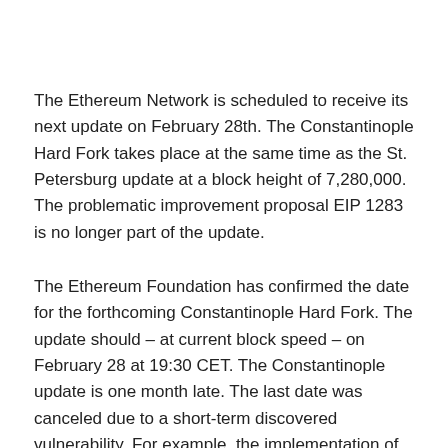The Ethereum Network is scheduled to receive its next update on February 28th. The Constantinople Hard Fork takes place at the same time as the St. Petersburg update at a block height of 7,280,000. The problematic improvement proposal EIP 1283 is no longer part of the update.
The Ethereum Foundation has confirmed the date for the forthcoming Constantinople Hard Fork. The update should – at current block speed – on February 28 at 19:30 CET. The Constantinople update is one month late. The last date was canceled due to a short-term discovered vulnerability. For example, the implementation of the Ethereum Improvement Proposal (EIP) 1283 made possible a so-called reentrancy attack, which was also the focus of the momentous DAO hack.